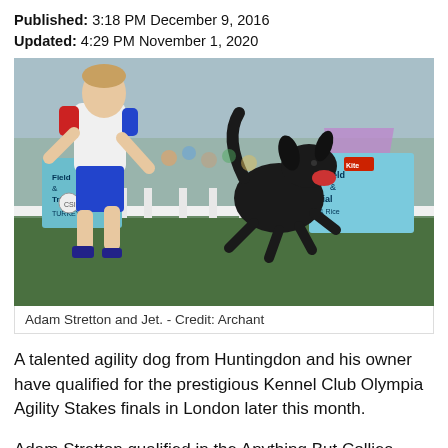Published: 3:18 PM December 9, 2016
Updated: 4:29 PM November 1, 2020
[Figure (photo): A person in a red, white and blue sports kit running alongside a black fluffy dog leaping through the air at an outdoor agility event. White picket fence barrier visible, Field & Trial dog food branded boards in background, colourful tents and crowd behind.]
Adam Stretton and Jet. - Credit: Archant
A talented agility dog from Huntingdon and his owner have qualified for the prestigious Kennel Club Olympia Agility Stakes finals in London later this month.
Adam Stretton qualified in the Anything But Collies